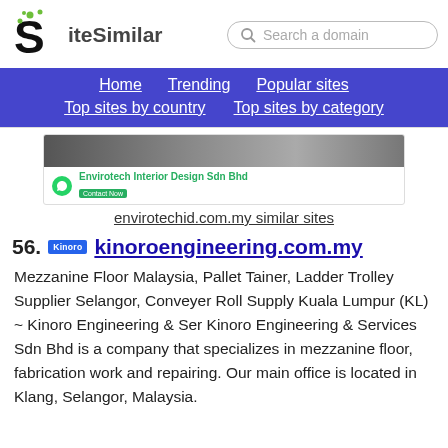[Figure (logo): SiteSimilar logo with stylized S and green dots, plus search box]
Home  Trending  Popular sites  Top sites by country  Top sites by category
[Figure (screenshot): Envirotech Interior Design Sdn Bhd website preview with WhatsApp icon and green contact button]
envirotechid.com.my similar sites
56.  kinoroengineering.com.my
Mezzanine Floor Malaysia, Pallet Tainer, Ladder Trolley Supplier Selangor, Conveyer Roll Supply Kuala Lumpur (KL) ~ Kinoro Engineering & Ser Kinoro Engineering & Services Sdn Bhd is a company that specializes in mezzanine floor, fabrication work and repairing. Our main office is located in Klang, Selangor, Malaysia.